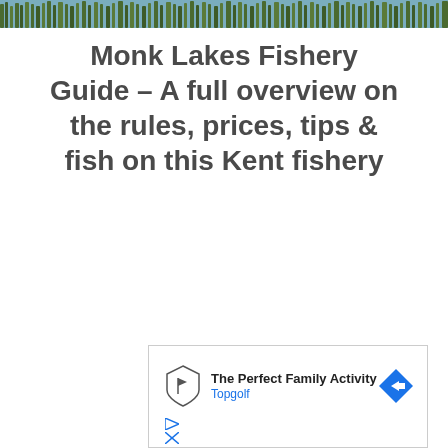[Figure (photo): Partial photo strip at top showing reeds/grass near water]
Monk Lakes Fishery Guide – A full overview on the rules, prices, tips & fish on this Kent fishery
[Figure (screenshot): Advertisement banner: The Perfect Family Activity – Topgolf, with Topgolf logo and navigation arrow button]